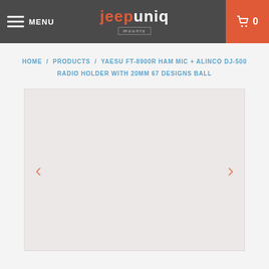MENU | jeepuniq mounts | 0
HOME / PRODUCTS / YAESU FT-8900R HAM MIC + ALINCO DJ-500 RADIO HOLDER WITH 20MM 67 DESIGNS BALL
[Figure (photo): Empty product image area with left and right navigation arrows]